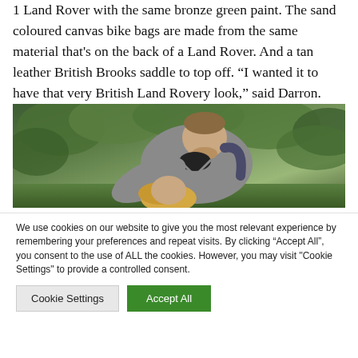1 Land Rover with the same bronze green paint. The sand coloured canvas bike bags are made from the same material that's on the back of a Land Rover. And a tan leather British Brooks saddle to top off. “I wanted it to have that very British Land Rovery look,” said Darron.
[Figure (photo): A man in a grey sweater leaning forward over a child with blonde hair, surrounded by green leafy bushes and grass in the background.]
We use cookies on our website to give you the most relevant experience by remembering your preferences and repeat visits. By clicking “Accept All”, you consent to the use of ALL the cookies. However, you may visit "Cookie Settings" to provide a controlled consent.